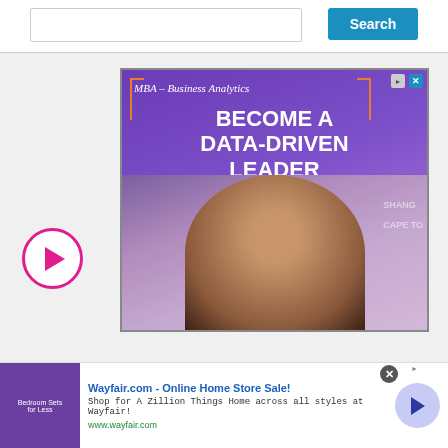[Figure (screenshot): Search bar area with blue Search button on top]
[Figure (illustration): Advertisement for MBA Business Analytics program: 'BECOME A DATA-DRIVEN LEADER' with photo of smiling woman, purple gradient background, orange brackets, AdChoices and X close buttons]
[Figure (illustration): Pink circular play button on left side]
[Figure (screenshot): Wayfair.com banner ad: 'Wayfair.com - Online Home Store Sale! Shop for A Zillion Things Home across all styles at Wayfair! www.wayfair.com' with thumbnail image and blue arrow button]